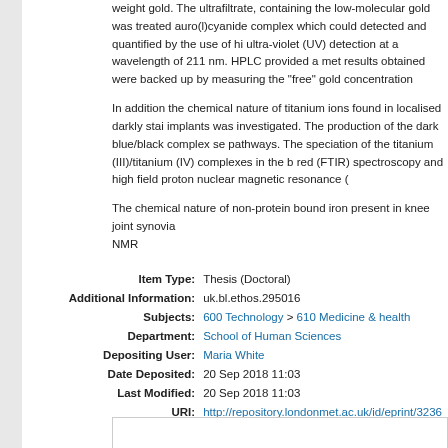weight gold. The ultrafiltrate, containing the low-molecular gold was treated auro(l)cyanide complex which could detected and quantified by the use of hi ultra-violet (UV) detection at a wavelength of 211 nm. HPLC provided a met results obtained were backed up by measuring the "free" gold concentration
In addition the chemical nature of titanium ions found in localised darkly stai implants was investigated. The production of the dark blue/black complex se pathways. The speciation of the titanium (III)/titanium (IV) complexes in the b red (FTIR) spectroscopy and high field proton nuclear magnetic resonance (
The chemical nature of non-protein bound iron present in knee joint synovia NMR
| Field | Value |
| --- | --- |
| Item Type: | Thesis (Doctoral) |
| Additional Information: | uk.bl.ethos.295016 |
| Subjects: | 600 Technology > 610 Medicine & health |
| Department: | School of Human Sciences |
| Depositing User: | Maria White |
| Date Deposited: | 20 Sep 2018 11:03 |
| Last Modified: | 20 Sep 2018 11:03 |
| URI: | http://repository.londonmet.ac.uk/id/eprint/3236 |
Downloads